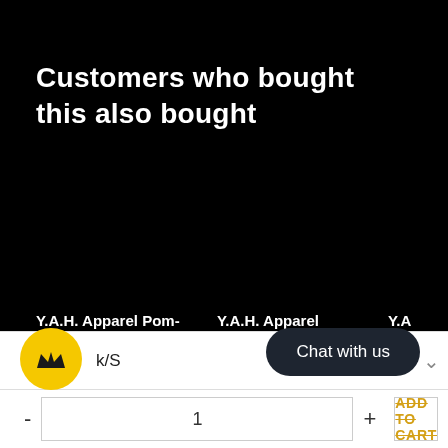Customers who bought this also bought
Y.A.H. Apparel Pom-
Y.A.H. Apparel
Y.A.
k/S
Chat with us
1
ADD TO CART